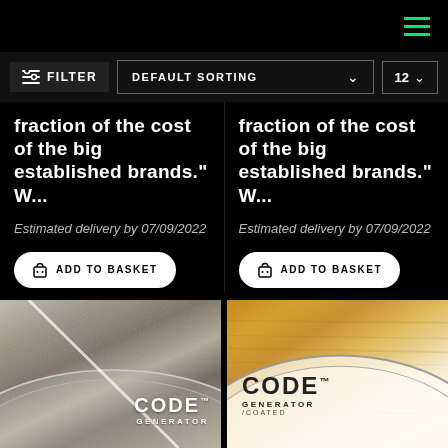[Figure (screenshot): Navigation bar with hamburger menu icon in green on black background]
[Figure (screenshot): Filter bar with FILTER button, DEFAULT SORTING dropdown, and 12 count dropdown]
fraction of the cost of the big established brands." W...
Estimated delivery by 07/09/2022
ADD TO BASKET
fraction of the cost of the big established brands." W...
Estimated delivery by 07/09/2022
ADD TO BASKET
[Figure (photo): CODE GENERATOR drum head on stony grey surface]
[Figure (photo): CODE GENERATOR COATED drum head on wood surface]